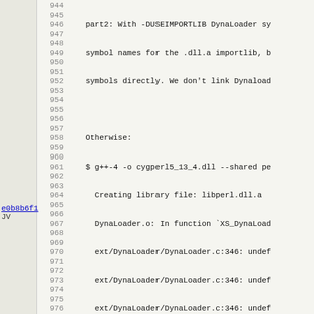Git log / source code viewer showing lines 944-975 with commit metadata and code content